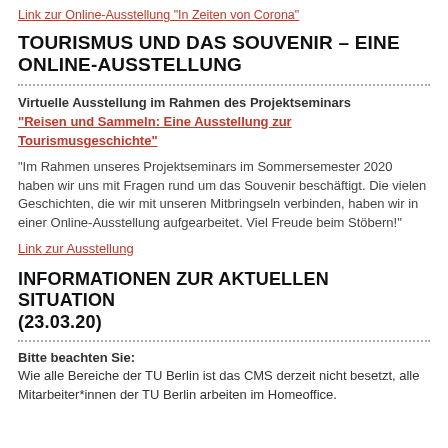Link zur Online-Ausstellung 'In Zeiten von Corona'
TOURISMUS UND DAS SOUVENIR – EINE ONLINE-AUSSTELLUNG
Virtuelle Ausstellung im Rahmen des Projektseminars "Reisen und Sammeln: Eine Ausstellung zur Tourismusgeschichte"
"Im Rahmen unseres Projektseminars im Sommersemester 2020 haben wir uns mit Fragen rund um das Souvenir beschäftigt. Die vielen Geschichten, die wir mit unseren Mitbringseln verbinden, haben wir in einer Online-Ausstellung aufgearbeitet. Viel Freude beim Stöbern!"
Link zur Ausstellung
INFORMATIONEN ZUR AKTUELLEN SITUATION (23.03.20)
Bitte beachten Sie: Wie alle Bereiche der TU Berlin ist das CMS derzeit nicht besetzt, alle Mitarbeiter*innen der TU Berlin arbeiten im Homeoffice.